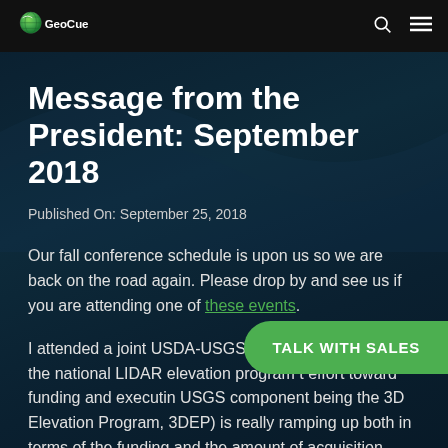GeoCue
Message from the President: September 2018
Published On: September 25, 2018
Our fall conference schedule is upon us so we are back on the road again. Please drop by and see us if you are attending one of these events.
I attended a joint USDA-USGS meeting on the state of the national LIDAR elevation program t effort toward funding and executin USGS component being the 3D Elevation Program, 3DEP) is really ramping up both in terms of the funding and the amount of acquisition being completed. These programs